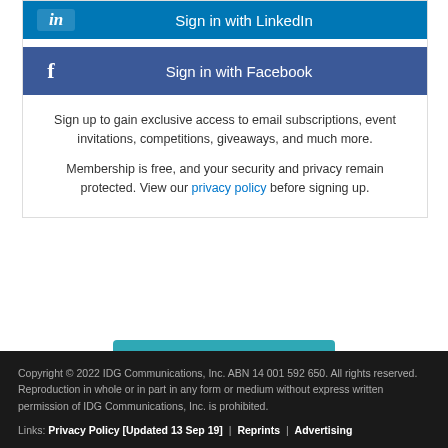[Figure (screenshot): LinkedIn sign-in button (teal/blue background with LinkedIn icon and text 'Sign in with LinkedIn')]
[Figure (screenshot): Facebook sign-in button (dark blue background with Facebook icon and text 'Sign in with Facebook')]
Sign up to gain exclusive access to email subscriptions, event invitations, competitions, giveaways, and much more.
Membership is free, and your security and privacy remain protected. View our privacy policy before signing up.
0 Comments
Copyright © 2022 IDG Communications, Inc. ABN 14 001 592 650. All rights reserved. Reproduction in whole or in part in any form or medium without express written permission of IDG Communications, Inc. is prohibited. Links: Privacy Policy [Updated 13 Sep 19] | Reprints | Advertising